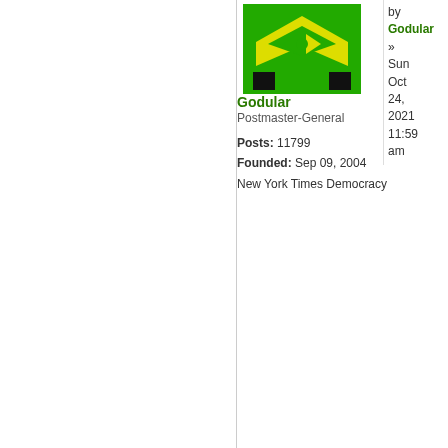[Figure (illustration): Green and yellow avatar/logo image with arrow symbol on green background]
Godular
Postmaster-General

Posts: 11799
Founded: Sep 09, 2004
New York Times Democracy
by Godular » Sun Oct 24, 2021 11:59 am